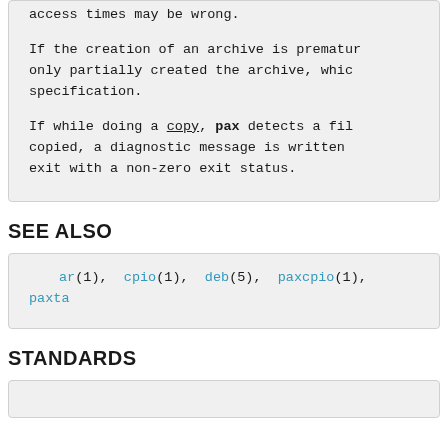access times may be wrong.

If the creation of an archive is premature, only partially created the archive, which specification.

If while doing a copy, pax detects a file copied, a diagnostic message is written to exit with a non-zero exit status.
SEE ALSO
ar(1), cpio(1), deb(5), paxcpio(1), paxta
STANDARDS